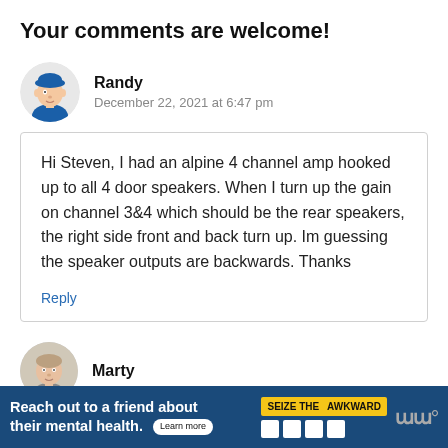Your comments are welcome!
[Figure (illustration): Cartoon avatar of a man wearing a blue cap]
Randy
December 22, 2021 at 6:47 pm
Hi Steven, I had an alpine 4 channel amp hooked up to all 4 door speakers. When I turn up the gain on channel 3&4 which should be the rear speakers, the right side front and back turn up. Im guessing the speaker outputs are backwards. Thanks
Reply
[Figure (photo): Photo avatar of a man (Marty)]
Marty
Reach out to a friend about their mental health. Learn more SEIZE THE AWKWARD